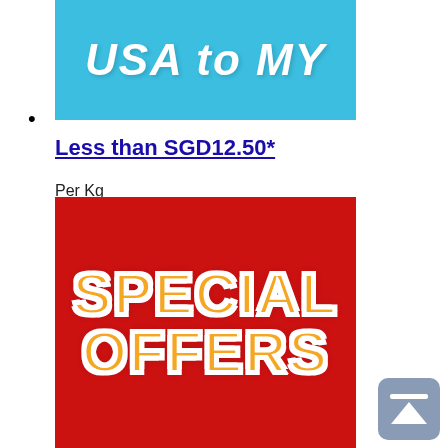[Figure (illustration): Blue banner image with white bold italic text reading 'USA to MY']
Less than SGD12.50*
Per Kg
[Figure (illustration): Red promotional banner with orange and white bold text reading 'SPECIAL OFFERS']